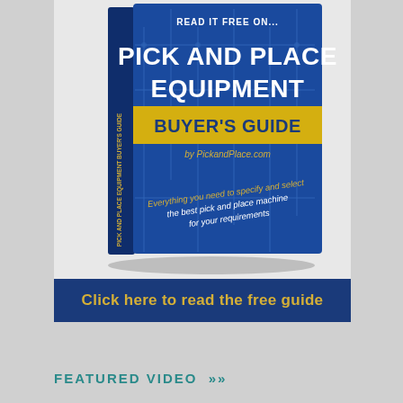[Figure (illustration): Book cover for 'Pick and Place Equipment Buyer's Guide' by PickandPlace.com on a blue circuit board background. Has yellow banner with 'Buyer's Guide' text. Tagline: 'Everything you need to specify and select the best pick and place machine for your requirements'. Top reads 'READ IT FREE ON...'.]
Click here to read the free guide
FEATURED VIDEO »»